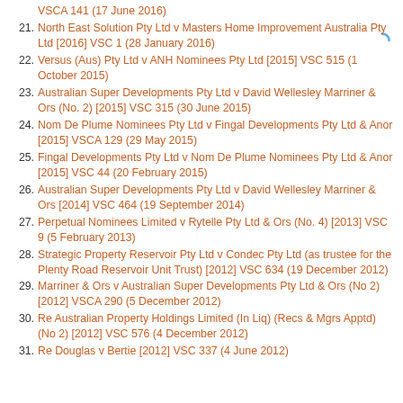VSCA 141 (17 June 2016)
21. North East Solution Pty Ltd v Masters Home Improvement Australia Pty Ltd [2016] VSC 1 (28 January 2016)
22. Versus (Aus) Pty Ltd v ANH Nominees Pty Ltd [2015] VSC 515 (1 October 2015)
23. Australian Super Developments Pty Ltd v David Wellesley Marriner & Ors (No. 2) [2015] VSC 315 (30 June 2015)
24. Nom De Plume Nominees Pty Ltd v Fingal Developments Pty Ltd & Anor [2015] VSCA 129 (29 May 2015)
25. Fingal Developments Pty Ltd v Nom De Plume Nominees Pty Ltd & Anor [2015] VSC 44 (20 February 2015)
26. Australian Super Developments Pty Ltd v David Wellesley Marriner & Ors [2014] VSC 464 (19 September 2014)
27. Perpetual Nominees Limited v Rytelle Pty Ltd & Ors (No. 4) [2013] VSC 9 (5 February 2013)
28. Strategic Property Reservoir Pty Ltd v Condec Pty Ltd (as trustee for the Plenty Road Reservoir Unit Trust) [2012] VSC 634 (19 December 2012)
29. Marriner & Ors v Australian Super Developments Pty Ltd & Ors (No 2) [2012] VSCA 290 (5 December 2012)
30. Re Australian Property Holdings Limited (In Liq) (Recs & Mgrs Apptd) (No 2) [2012] VSC 576 (4 December 2012)
31. Re Douglas v Bertie [2012] VSC 337 (4 June 2012)